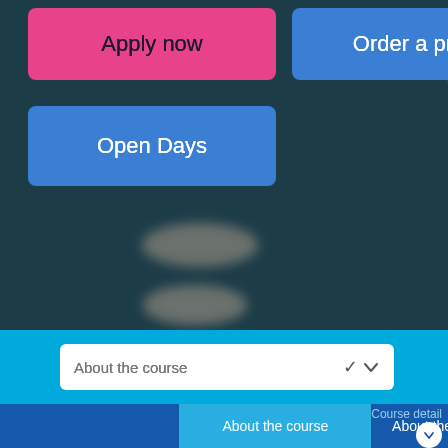[Figure (screenshot): University website screenshot showing dark teal/navy background with blurred circular bokeh light effects, with three call-to-action buttons overlaid: 'Apply now' (pink), 'Order a prospectus' (blue), 'Open Days' (blue). Below is a cyan navigation bar with a white dropdown selector reading 'About the course' and a bottom navigation bar showing 'About the course' tab (highlighted in lighter blue) and 'Course detail' on the right with a white circular chevron button.]
Apply now
Order a prospectus
Open Days
About the course
About the course
Course detail